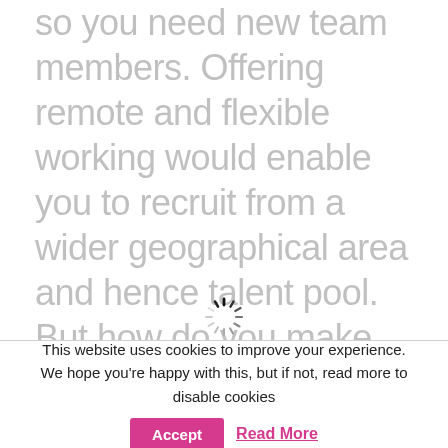so you need new team members. Offering remote and flexible working would enable you to recruit from a wider geographical area and hence talent pool. But how do you make…
[Figure (other): Loading spinner icon (animated spinner graphic) centered on the page]
This website uses cookies to improve your experience. We hope you're happy with this, but if not, read more to disable cookies